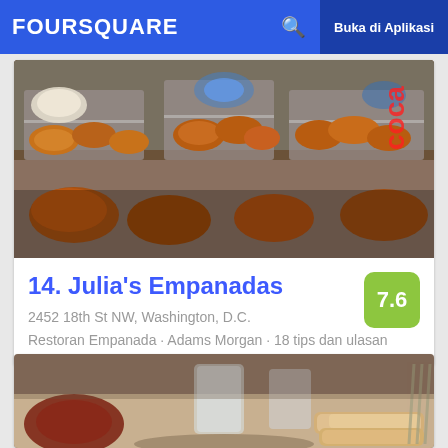FOURSQUARE  Buka di Aplikasi
[Figure (photo): Photo of empanadas in metal trays with wire racks in a display case, warm lighting]
14. Julia's Empanadas
2452 18th St NW, Washington, D.C.
Restoran Empanada · Adams Morgan · 18 tips dan ulasan
[Figure (photo): Photo of bread rolls and drinks on a restaurant table, blurred background]